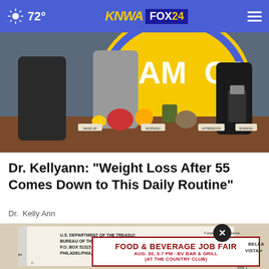72° KNWA FOX24
[Figure (photo): TV show set with two women standing behind a table covered with food items including vegetables, fruits, a blender, and signs reading WAKE UP, MORNING, AFTERNOON, EVENING. Background shows a circular GMA logo.]
Dr. Kellyann: "Weight Loss After 55 Comes Down to This Daily Routine"
Dr. Kelly Ann
[Figure (photo): Partial view of a U.S. Department of the Treasury check with text reading U.S. DEPARTMENT OF THE TREAS..., BUREAU OF THE FISCAL SERVICE, P.O. BOX 51315, PHILADELPHIA, PENNSYLVANIA 19115-6315. An advertisement overlay reads FOOD & BEVERAGE JOB FAIR AUG. 30, 3-7 PM · BV BAR & GRILL (AT THE COUNTRY CLUB) with a Bella Vista logo.]